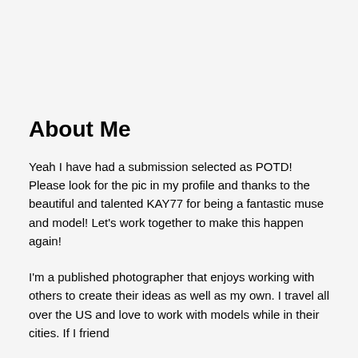About Me
Yeah I have had a submission selected as POTD! Please look for the pic in my profile and thanks to the beautiful and talented KAY77 for being a fantastic muse and model! Let's work together to make this happen again!
I'm a published photographer that enjoys working with others to create their ideas as well as my own. I travel all over the US and love to work with models while in their cities. If I friend